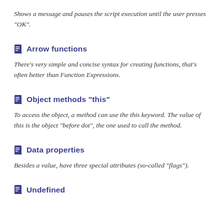Shows a message and pauses the script execution until the user presses "OK".
Arrow functions
There's very simple and concise syntax for creating functions, that's often better than Function Expressions.
Object methods "this"
To access the object, a method can use the this keyword. The value of this is the object "before dot", the one used to call the method.
Data properties
Besides a value, have three special attributes (so-called "flags").
Undefined